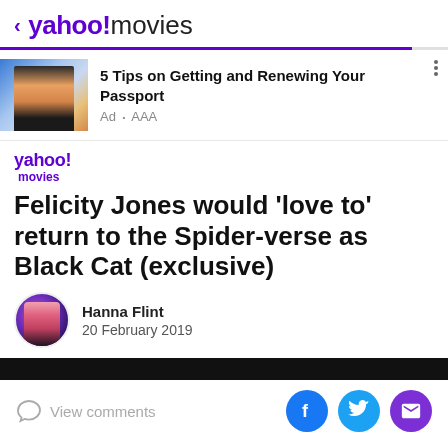< yahoo!movies
[Figure (screenshot): Advertisement banner: image of a person with backpack wearing a mask, with text '5 Tips on Getting and Renewing Your Passport', Ad • AAA]
[Figure (logo): Yahoo! movies logo]
Felicity Jones would 'love to' return to the Spider-verse as Black Cat (exclusive)
Hanna Flint
20 February 2019
View comments